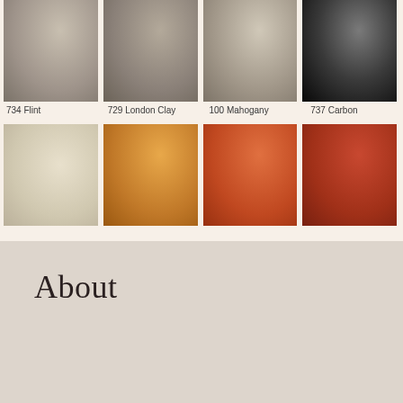[Figure (illustration): Color swatches grid showing 8 paint/finish colors in two rows of four. Row 1: 734 Flint (grey-taupe), 729 London Clay (dark taupe-grey), 100 Mahogany (warm grey-beige), 737 Carbon (near black). Row 2: unnamed cream/beige, unnamed orange, unnamed rust/terracotta, unnamed dark red.]
734 Flint
729 London Clay
100 Mahogany
737 Carbon
About